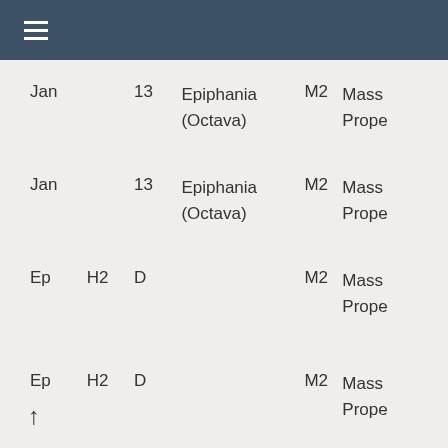☰
| Jan |  | 13 | Epiphania (Octava) | M2 | Mass Prope |
| Jan |  | 13 | Epiphania (Octava) | M2 | Mass Prope |
| Ep | H2 | D |  | M2 | Mass Prope |
| Ep | H2 | D |  | M2 | Mass Prope |